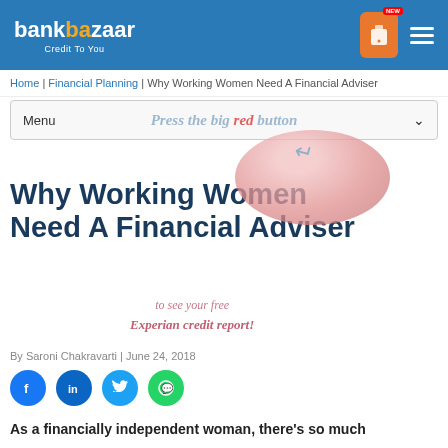bankbazaar Credit To You
Home | Financial Planning | Why Working Women Need A Financial Adviser
Menu
Why Working Women Need A Financial Adviser
By Saroni Chakravarti | June 24, 2018
As a financially independent woman, there's so much